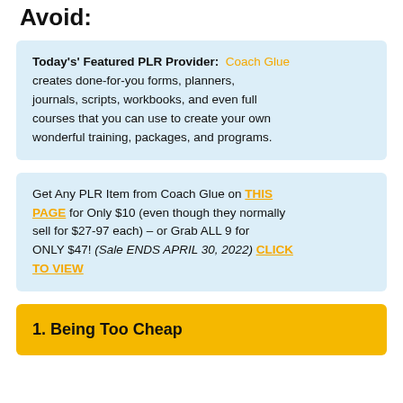Avoid:
Today's' Featured PLR Provider: Coach Glue creates done-for-you forms, planners, journals, scripts, workbooks, and even full courses that you can use to create your own wonderful training, packages, and programs.
Get Any PLR Item from Coach Glue on THIS PAGE for Only $10 (even though they normally sell for $27-97 each) – or Grab ALL 9 for ONLY $47! (Sale ENDS APRIL 30, 2022) CLICK TO VIEW
1. Being Too Cheap